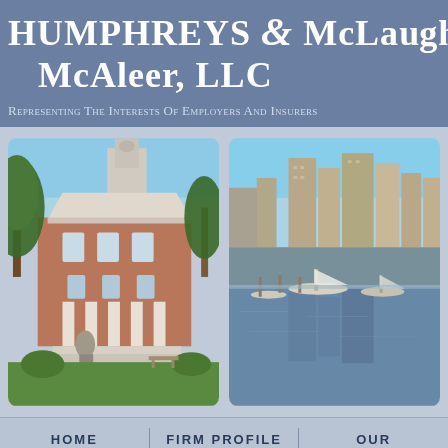Humphreys & McLaughlin McAleer, LLC
Representing The Interests Of Employers And Insurers
[Figure (photo): Photo of a historic courthouse or government building with columns, red brick, white trim, surrounded by trees and green lawn]
[Figure (photo): Photo of Baltimore Inner Harbor skyline with city skyscrapers, marina with boats, and water reflection]
HOME   FIRM PROFILE   OUR